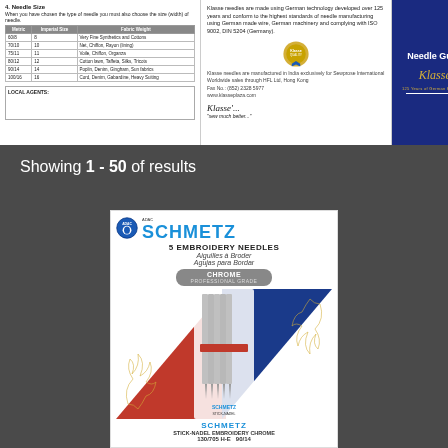[Figure (photo): Top banner showing Klasse needle guide booklet spread with needle size table on the left, German technology description and award badge in the middle, and Klasse blue Needle Guide cover on the right]
Showing 1 - 50 of results
[Figure (photo): Schmetz 5 Embroidery Needles Chrome Professional Grade product packaging card showing needles with red and blue diagonal design elements, size 90/14, model 130/705 H-E]